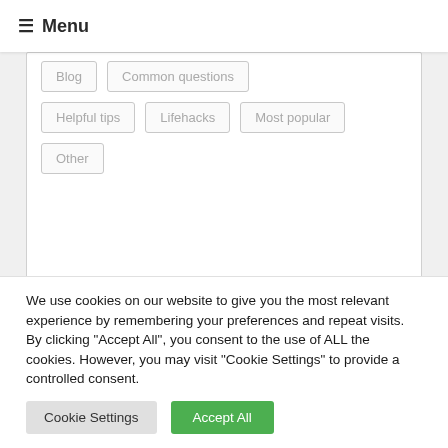≡ Menu
Blog
Common questions
Helpful tips
Lifehacks
Most popular
Other
[Figure (other): Dark teal/blue rectangular banner image with a close button (×) in the top right corner]
We use cookies on our website to give you the most relevant experience by remembering your preferences and repeat visits. By clicking "Accept All", you consent to the use of ALL the cookies. However, you may visit "Cookie Settings" to provide a controlled consent.
Cookie Settings
Accept All